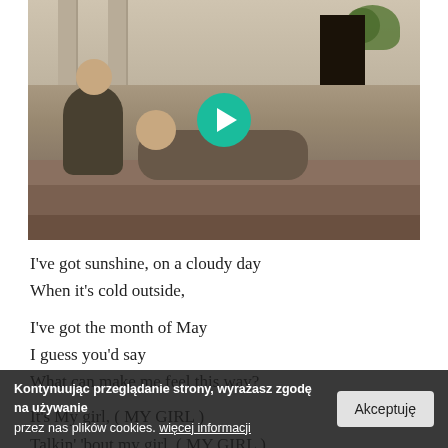[Figure (screenshot): Video thumbnail showing two children (a boy and a girl) sitting/lying on stone steps of a building. A teal/green circular play button is centered on the image.]
I've got sunshine, on a cloudy day
When it's cold outside,
I've got the month of May
I guess you'd say
What can make me feel this way?
It's My girl, ( MY GIRL )
Talkin' 'bout my girl, ( MY GIRL )
Kontynuując przeglądanie strony, wyrażasz zgodę na używanie przez nas plików cookies. więcej informacji